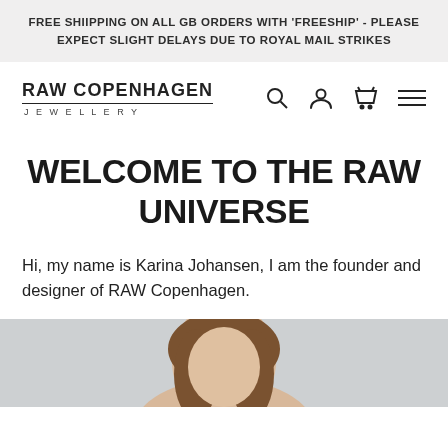FREE SHIIPPING ON ALL GB ORDERS WITH 'FREESHIP' - PLEASE EXPECT SLIGHT DELAYS DUE TO ROYAL MAIL STRIKES
[Figure (logo): RAW COPENHAGEN JEWELLERY logo with navigation icons (search, account, cart, menu)]
WELCOME TO THE RAW UNIVERSE
Hi, my name is Karina Johansen, I am the founder and designer of RAW Copenhagen.
[Figure (photo): Photo of a woman with brown hair, visible from shoulders up, light grey background]